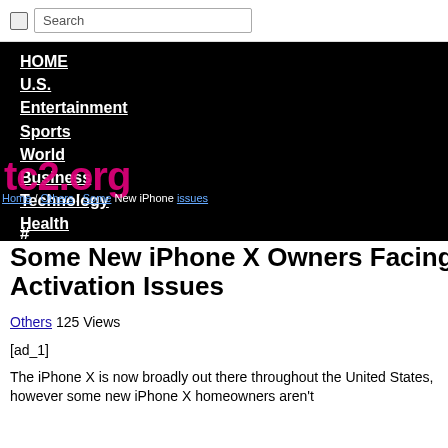Search
[Figure (screenshot): Navigation menu overlay on black background with links: HOME, U.S., Entertainment, Sports, World, Business, Technology, Health, Others, Science, # , Contact Us. A pink/magenta logo watermark 'tc2.org' overlaps the menu. A breadcrumb reads: Home / Others / Some New iPhone issues.]
Some New iPhone X Owners Facing Activation Issues
Others 125 Views
[ad_1]
The iPhone X is now broadly out there throughout the United States, however some new iPhone X homeowners aren't